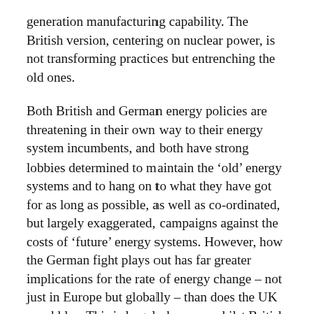generation manufacturing capability. The British version, centering on nuclear power, is not transforming practices but entrenching the old ones.
Both British and German energy policies are threatening in their own way to their energy system incumbents, and both have strong lobbies determined to maintain the ‘old’ energy systems and to hang on to what they have got for as long as possible, as well as co-ordinated, but largely exaggerated, campaigns against the costs of ‘future’ energy systems. However, how the German fight plays out has far greater implications for the rate of energy change – not just in Europe but globally – than does the UK squabbles. This is largely because whilst British and German energy systems started off in the same place in 1990, Germany has been much more effective in integrating sustainable energy policies throughout German life, including into